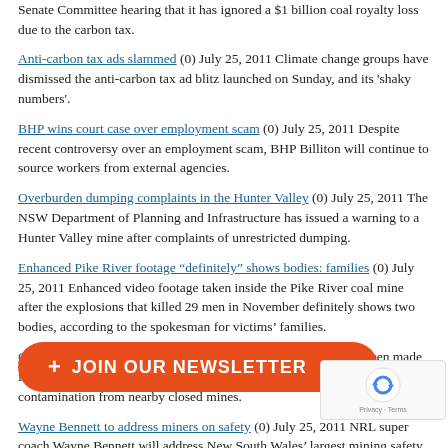Senate Committee hearing that it has ignored a $1 billion coal royalty loss due to the carbon tax.
Anti-carbon tax ads slammed (0) July 25, 2011 Climate change groups have dismissed the anti-carbon tax ad blitz launched on Sunday, and its 'shaky numbers'.
BHP wins court case over employment scam (0) July 25, 2011 Despite recent controversy over an employment scam, BHP Billiton will continue to source workers from external agencies.
Overburden dumping complaints in the Hunter Valley (0) July 25, 2011 The NSW Department of Planning and Infrastructure has issued a warning to a Hunter Valley mine after complaints of unrestricted dumping.
Enhanced Pike River footage “definitely” shows bodies: families (0) July 25, 2011 Enhanced video footage taken inside the Pike River coal mine after the explosions that killed 29 men in November definitely shows two bodies, according to the spokesman for victims’ families.
Contamination fears for Dee River (0) July 25, 2011 Calls have been made for a full investigation into pollution in the Dee River, with fears of contamination from nearby closed mines.
Wayne Bennett to address miners on safety (0) July 25, 2011 NRL super coach Wayne Bennett will address New South Wales’ largest mining safety conference in the Hunter Valley today.
5, 2011 The Depar... ed operations at its Magnet office.